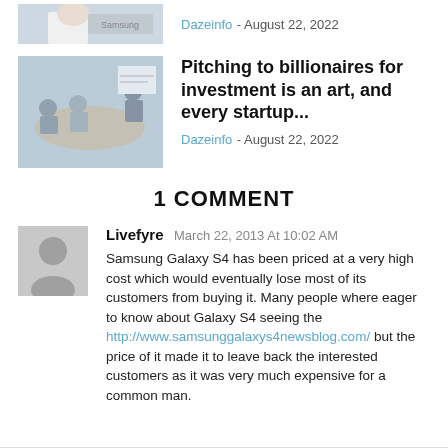[Figure (photo): Partial top image showing person in white shirt against Samsung logo background]
Dazeinfo - August 22, 2022
[Figure (photo): Meeting room scene with people around a table and a presenter at a whiteboard]
Pitching to billionaires for investment is an art, and every startup...
Dazeinfo - August 22, 2022
1 COMMENT
[Figure (photo): Grey avatar placeholder icon showing silhouette of a person]
Livefyre March 22, 2013 At 10:02 AM
Samsung Galaxy S4 has been priced at a very high cost which would eventually lose most of its customers from buying it. Many people where eager to know about Galaxy S4 seeing the http://www.samsunggalaxys4newsblog.com/ but the price of it made it to leave back the interested customers as it was very much expensive for a common man.